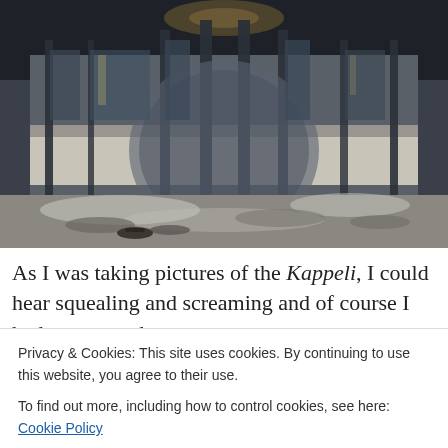[Figure (photo): Photograph of the Kappeli building exterior in winter, showing ornate glass and metal columns/windows with snow on the ground in front.]
As I was taking pictures of the Kappeli, I could hear squealing and screaming and of course I had to turn and
Privacy & Cookies: This site uses cookies. By continuing to use this website, you agree to their use.
To find out more, including how to control cookies, see here: Cookie Policy
Close and accept
start studying for the matriculation exams later in the